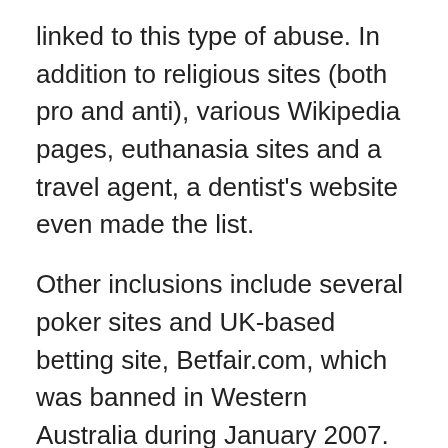linked to this type of abuse. In addition to religious sites (both pro and anti), various Wikipedia pages, euthanasia sites and a travel agent, a dentist's website even made the list.
Other inclusions include several poker sites and UK-based betting site, Betfair.com, which was banned in Western Australia during January 2007. The company appealed saying the ban was unconstitutional and in March 2008 it was overruled. However, Betfair.com remains on the list.
Speaking of the leak, Australia's Broadband and Communications Minister Stephen Conroy says the list is not the official ACMA blacklist. He says that